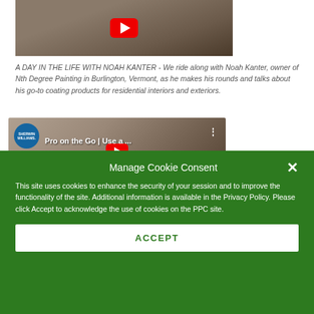[Figure (screenshot): Top portion of a YouTube video thumbnail showing a person working, with red YouTube play button visible]
A DAY IN THE LIFE WITH NOAH KANTER - We ride along with Noah Kanter, owner of Nth Degree Painting in Burlington, Vermont, as he makes his rounds and talks about his go-to coating products for residential interiors and exteriors.
[Figure (screenshot): YouTube video thumbnail for 'Pro on the Go | Use a ...' with Sherwin-Williams logo, showing an older man, with red play button]
Manage Cookie Consent
This site uses cookies to enhance the security of your session and to improve the functionality of the site. Additional information is available in the Privacy Policy. Please click Accept to acknowledge the use of cookies on the PPC site.
ACCEPT